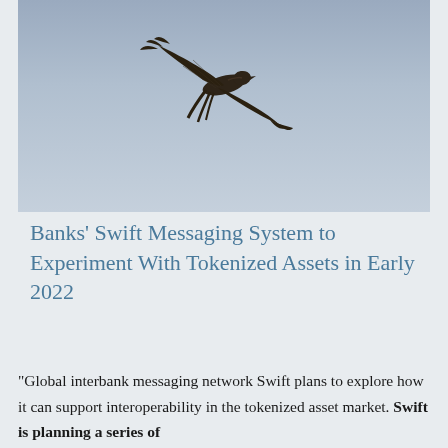[Figure (photo): A swift bird in flight against a light blue-grey sky, wings spread, photographed from below.]
Banks’ Swift Messaging System to Experiment With Tokenized Assets in Early 2022
“Global interbank messaging network Swift plans to explore how it can support interoperability in the tokenized asset market. Swift is planning a series of